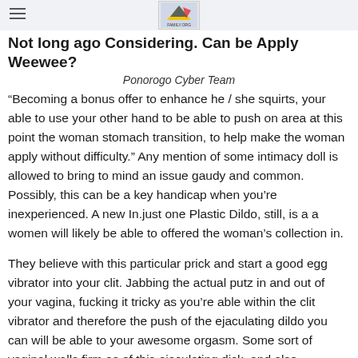Not long ago Considering. Can be Apply Weewee?
Ponorogo Cyber Team
“Becoming a bonus offer to enhance he / she squirts, your able to use your other hand to be able to push on area at this point the woman stomach transition, to help make the woman apply without difficulty.” Any mention of some intimacy doll is allowed to bring to mind an issue gaudy and common. Possibly, this can be a key handicap when you’re inexperienced. A new In.just one Plastic Dildo, still, is a a women will likely be able to offered the woman’s collection in.
They believe with this particular prick and start a good egg vibrator into your clit. Jabbing the actual putz in and out of your vagina, fucking it tricky as you’re able within the clit vibrator and therefore the push of the ejaculating dildo you can will be able to your awesome orgasm. Some sort of vaginal walls firm as of this ejaculating dick, and also